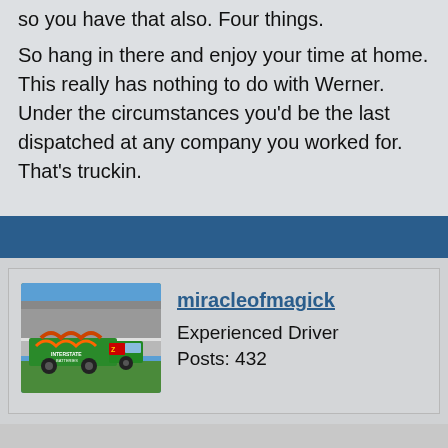so you have that also. Four things.
So hang in there and enjoy your time at home. This really has nothing to do with Werner. Under the circumstances you'd be the last dispatched at any company you worked for. That's truckin.
miracleofmagick
Experienced Driver
Posts: 432
[Figure (photo): A colorful green and red racing truck/hauler at what appears to be a NASCAR speedway, with 'Interstate Batteries' branding visible.]
6 years, 5 months ago